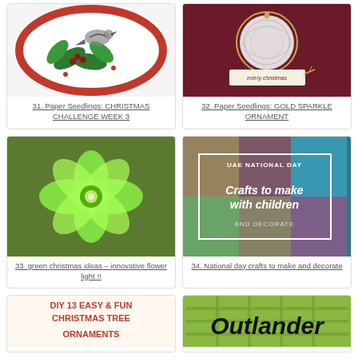[Figure (photo): Christmas card with bird on holly branch in oval red border]
31. Paper Seedlings: CHRISTMAS CHALLENGE WEEK 3
[Figure (photo): Dark red Christmas card with gold sparkle ornament circle]
32. Paper Seedlings: GOLD SPARKLE ORNAMENT
[Figure (photo): Green plastic bottle flower shaped christmas ornament light]
33. green christmas ideas – innovative flower light !!
[Figure (photo): UAE National Day crafts overlay image with children crafts text]
34. National day crafts to make and decorate
[Figure (photo): DIY 13 Easy & Fun Christmas Tree Ornaments text graphic]
[Figure (photo): Outlander text on green plaid background]